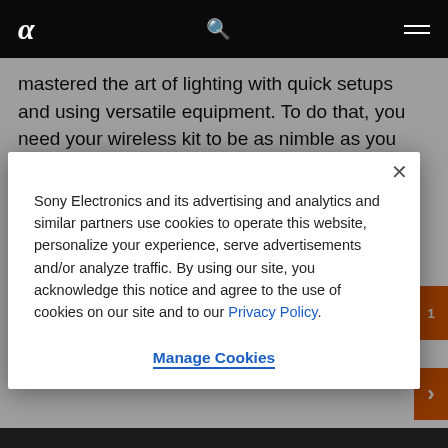α  [search icon]  [menu icon]
mastered the art of lighting with quick setups and using versatile equipment. To do that, you need your wireless kit to be as nimble as you are and still deliver top-level results.
Sony Electronics and its advertising and analytics and similar partners use cookies to operate this website, personalize your experience, serve advertisements and/or analyze traffic. By using our site, you acknowledge this notice and agree to the use of cookies on our site and to our Privacy Policy.
Manage Cookies